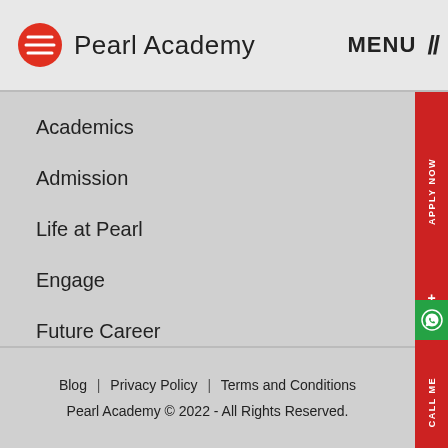Pearl Academy | MENU //
Academics
Admission
Life at Pearl
Engage
Future Career
COVID-19 Response
About Us
Blog | Privacy Policy | Terms and Conditions
Pearl Academy © 2022 - All Rights Reserved.